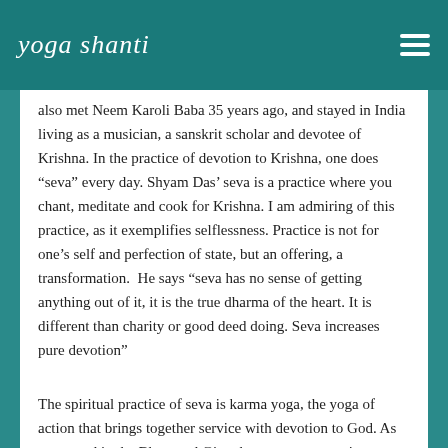yoga shanti
also met Neem Karoli Baba 35 years ago, and stayed in India living as a musician, a sanskrit scholar and devotee of Krishna. In the practice of devotion to Krishna, one does “seva” every day. Shyam Das’ seva is a practice where you chant, meditate and cook for Krishna. I am admiring of this practice, as it exemplifies selflessness. Practice is not for one’s self and perfection of state, but an offering, a transformation.  He says “seva has no sense of getting anything out of it, it is the true dharma of the heart. It is different than charity or good deed doing. Seva increases pure devotion”
The spiritual practice of seva is karma yoga, the yoga of action that brings together service with devotion to God. As expressed in the Bhagavad Gita, the great conversation between Krishna and Arjuna on the battlefield [of life], the key is to surrender to God the fruits of your service, to give up any expectation of rewards or attachment to the results and allow your human will to